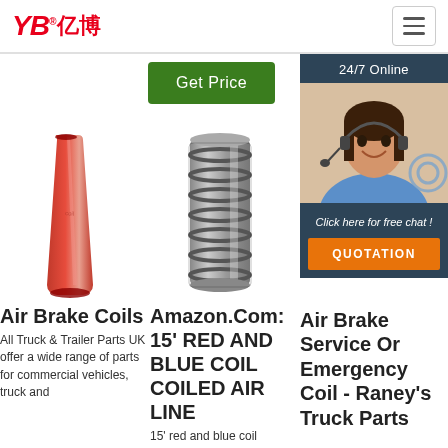YB亿博 logo and navigation
Get Price
24/7 Online
[Figure (photo): Customer service representative woman wearing headset, smiling]
Click here for free chat !
QUOTATION
[Figure (photo): Red cone-shaped air brake hose/coil]
Air Brake Coils
All Truck & Trailer Parts UK offer a wide range of parts for commercial vehicles, truck and
[Figure (photo): Metallic coiled air brake line, 15 foot]
Amazon.Com: 15' RED AND BLUE COIL COILED AIR LINE
15' red and blue coil
Air Brake Service Or Emergency Coil - Raney's Truck Parts
Air Service Or